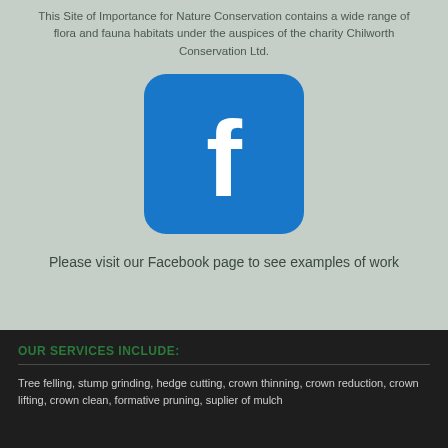This Site of Importance for Nature Conservation contains a wide range of flora and fauna habitats under the auspices of the charity Chilworth Conservation Ltd.
[Figure (logo): Facebook logo — blue rounded square with white lowercase 'f']
Please visit our Facebook page to see examples of work
OUR SERVICES INCLUDE:
Tree felling, stump grinding, hedge cutting, crown thinning, crown reduction, crown lifting, crown clean, formative pruning, suplier of mulch